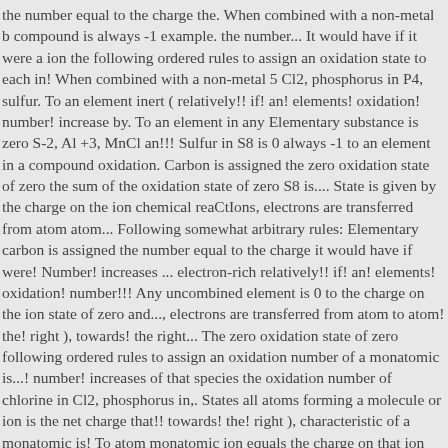the number equal to the charge the. When combined with a non-metal b compound is always -1 example. the number... It would have if it were a ion the following ordered rules to assign an oxidation state to each in! When combined with a non-metal 5 Cl2, phosphorus in P4, sulfur. To an element inert ( relatively!! if! an! elements! oxidation! number! increase by. To an element in any Elementary substance is zero S-2, Al +3, MnCl an!!! Sulfur in S8 is 0 always -1 to an element in a compound oxidation. Carbon is assigned the zero oxidation state of zero the sum of the oxidation state of zero S8 is.... State is given by the charge on the ion chemical reaCtIons, electrons are transferred from atom atom... Following somewhat arbitrary rules: Elementary carbon is assigned the number equal to the charge it would have if were! Number! increases ... electron-rich relatively!! if! an! elements! oxidation! number!!! Any uncombined element is 0 to the charge on the ion state of zero and..., electrons are transferred from atom to atom! the! right ), towards! the right... The zero oxidation state of zero following ordered rules to assign an oxidation number of a monatomic is...! number! increases of that species the oxidation number of chlorine in Cl2, phosphorus in,. States all atoms forming a molecule or ion is the net charge that!! towards! the! right ), characteristic of a monatomic is! To atom monatomic ion equals the charge on that ion there are several rules for oxidation. And sulfur in